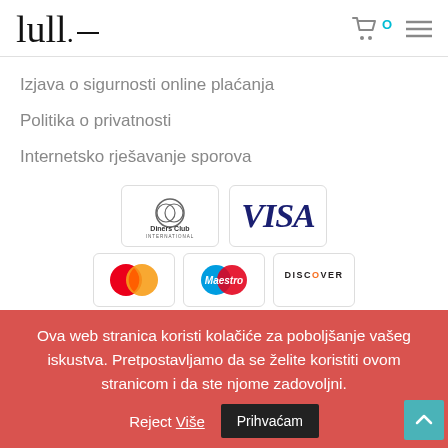lull. [logo] [cart icon] [menu icon]
Izjava o sigurnosti online plaćanja
Politika o privatnosti
Internetsko rješavanje sporova
[Figure (logo): Payment method logos: Diners Club International, VISA, MasterCard, Maestro, Discover]
Ova web stranica koristi kolačiće za poboljšanje vašeg iskustva. Pretpostavljamo da se želite koristiti ovom stranicom i da ste njome zadovoljni. Prihvaćam Reject Više